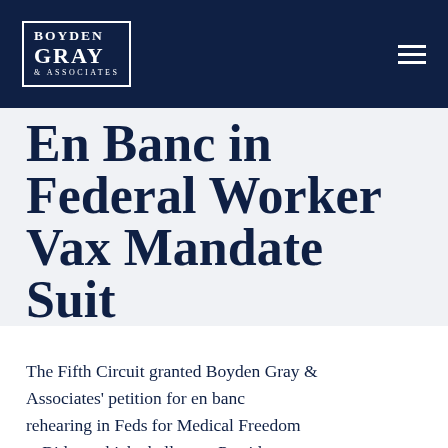BOYDEN GRAY & ASSOCIATES
En Banc in Federal Worker Vax Mandate Suit
The Fifth Circuit granted Boyden Gray & Associates' petition for en banc rehearing in Feds for Medical Freedom v. Biden, which challenges President